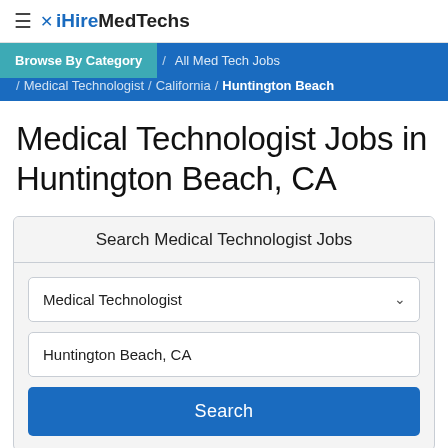≡ iHireMedTechs
Browse By Category / All Med Tech Jobs / Medical Technologist / California / Huntington Beach
Medical Technologist Jobs in Huntington Beach, CA
Search Medical Technologist Jobs
Medical Technologist [dropdown]
Huntington Beach, CA [input]
Search [button]